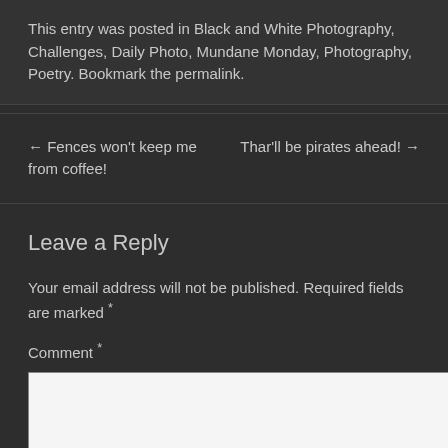This entry was posted in Black and White Photography, Challenges, Daily Photo, Mundane Monday, Photography, Poetry. Bookmark the permalink.
← Fences won't keep me from coffee!
Thar'll be pirates ahead! →
Leave a Reply
Your email address will not be published. Required fields are marked *
Comment *